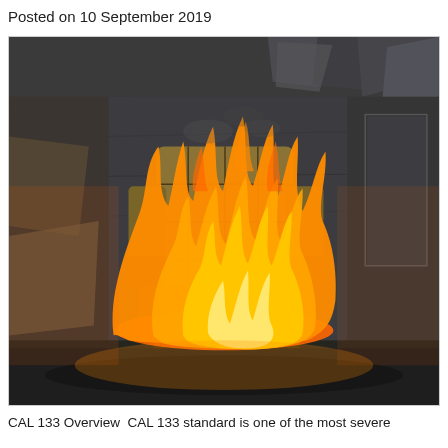Posted on 10 September 2019
[Figure (photo): A wingback armchair engulfed in large orange and yellow flames set against a dark, dilapidated room with peeling concrete walls and scattered debris. The image dramatically illustrates fire hazard and flammability of furniture.]
CAL 133 Overview  CAL 133 standard is one of the most severe